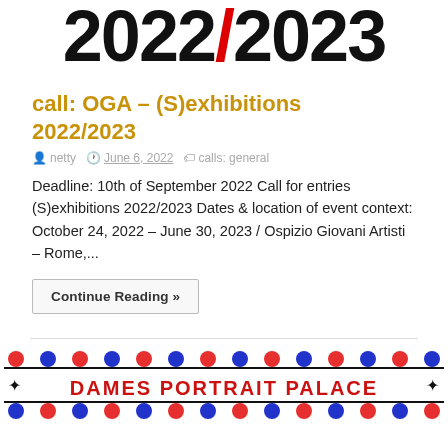[Figure (logo): Large stylized text logo reading '2022/2023' where the slash is red and the rest is black, bold display font]
call: OGA – (S)exhibitions 2022/2023
netty   June 6, 2022   calls: general
Deadline: 10th of September 2022 Call for entries (S)exhibitions 2022/2023 Dates & location of event context: October 24, 2022 – June 30, 2023 / Ospizio Giovani Artisti – Rome,...
Continue Reading »
[Figure (illustration): Decorative banner with red and blue circles on a black/white dotted/patterned border, with text 'DAMES PORTRAIT PALACE' in bold red letters on white background, with bird/butterfly decorative motifs at corners]